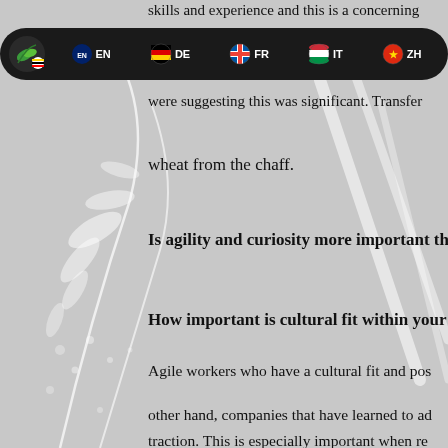skills and experience and this is a concerning
EN | DE | FR | IT | ZH — Moneyrock Consulting navigation bar
were suggesting this was significant. Transfer
wheat from the chaff.
Is agility and curiosity more important tha
How important is cultural fit within your o
Agile workers who have a cultural fit and pos
other hand, companies that have learned to ad
traction. This is especially important when re